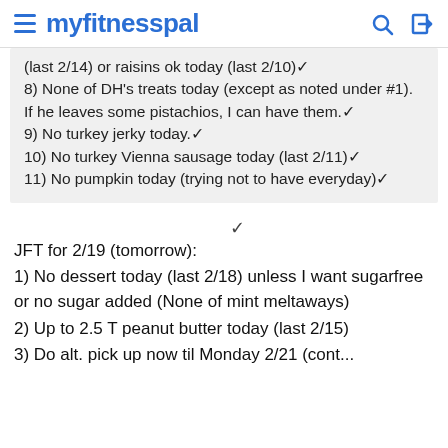myfitnesspal
(last 2/14) or raisins ok today (last 2/10) ✓
8) None of DH's treats today (except as noted under #1). If he leaves some pistachios, I can have them. ✓
9) No turkey jerky today. ✓
10) No turkey Vienna sausage today (last 2/11) ✓
11) No pumpkin today (trying not to have everyday) ✓
JFT for 2/19 (tomorrow):
1) No dessert today (last 2/18) unless I want sugarfree or no sugar added (None of mint meltaways)
2) Up to 2.5 T peanut butter today (last 2/15)
3) Do alt. pick up now til Monday 2/21 (cont...